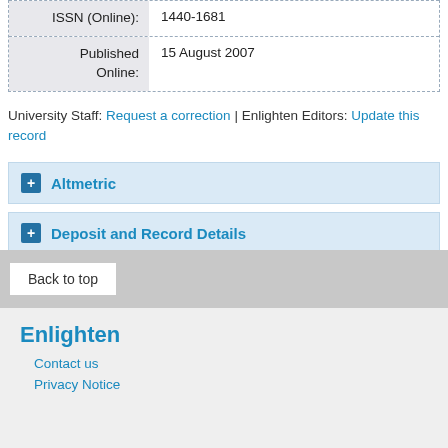| Field | Value |
| --- | --- |
| ISSN (Online): | 1440-1681 |
| Published Online: | 15 August 2007 |
University Staff: Request a correction | Enlighten Editors: Update this record
+ Altmetric
+ Deposit and Record Details
Back to top
Enlighten
Contact us
Privacy Notice